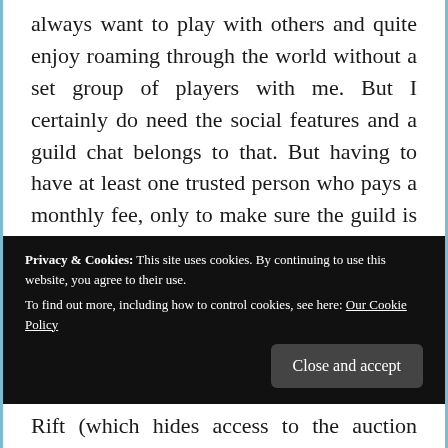always want to play with others and quite enjoy roaming through the world without a set group of players with me. But I certainly do need the social features and a guild chat belongs to that. But having to have at least one trusted person who pays a monthly fee, only to make sure the guild is active and can invite new players whenever necessary would not be good for the game if you ask me. So
Privacy & Cookies: This site uses cookies. By continuing to use this website, you agree to their use. To find out more, including how to control cookies, see here: Our Cookie Policy
Close and accept
Rift (which hides access to the auction house